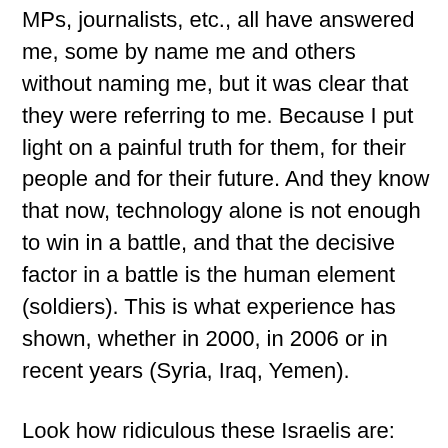MPs, journalists, etc., all have answered me, some by name me and others without naming me, but it was clear that they were referring to me. Because I put light on a painful truth for them, for their people and for their future. And they know that now, technology alone is not enough to win in a battle, and that the decisive factor in a battle is the human element (soldiers). This is what experience has shown, whether in 2000, in 2006 or in recent years (Syria, Iraq, Yemen).
Look how ridiculous these Israelis are: how did they answer me? With what facts did they answer me? They responded, and here you can see their weakness, by threatening Lebanon, but what did